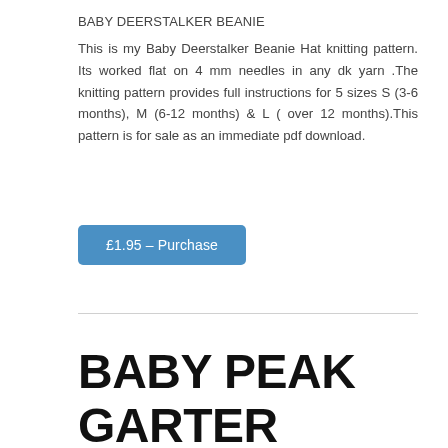BABY DEERSTALKER BEANIE
This is my Baby Deerstalker Beanie Hat knitting pattern. Its worked flat on 4 mm needles in any dk yarn .The knitting pattern provides full instructions for 5 sizes S (3-6 months), M (6-12 months) & L (over 12 months).This pattern is for sale as an immediate pdf download.
£1.95 – Purchase
BABY PEAK GARTER STITCH BALACLAVA